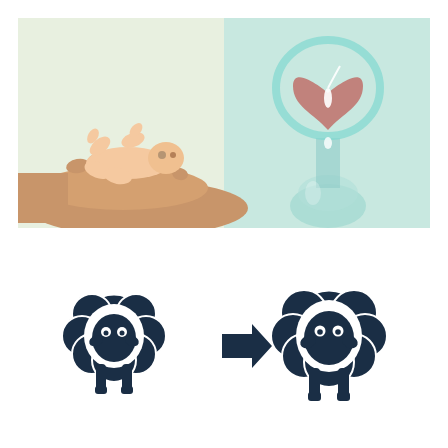[Figure (illustration): Composite photo: left half shows a newborn baby lying in an open adult palm on a light background; right half shows a teal/blue hourglass-shaped glass vessel with a heart-shaped top chamber containing a reddish-pink substance, with a white droplet/sperm visible, suggesting IVF or reproductive biology.]
[Figure (illustration): Two dark navy sheep icons side by side with a right-pointing arrow between them, representing cloning or reproduction — one original sheep on the left, arrow in the middle, and an identical sheep on the right.]